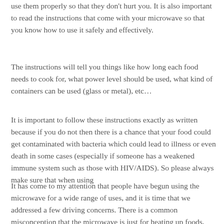use them properly so that they don't hurt you. It is also important to read the instructions that come with your microwave so that you know how to use it safely and effectively.
The instructions will tell you things like how long each food needs to cook for, what power level should be used, what kind of containers can be used (glass or metal), etc…
It is important to follow these instructions exactly as written because if you do not then there is a chance that your food could get contaminated with bacteria which could lead to illness or even death in some cases (especially if someone has a weakened immune system such as those with HIV/AIDS). So please always make sure that when using
It has come to my attention that people have begun using the microwave for a wide range of uses, and it is time that we addressed a few driving concerns. There is a common misconception that the microwave is just for heating up foods,